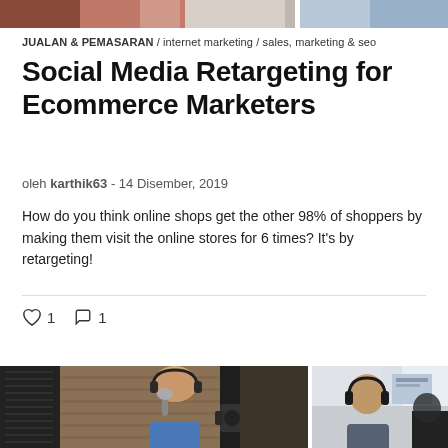[Figure (photo): Top strip showing partial images from article thumbnails]
JUALAN & PEMASARAN / internet marketing / sales, marketing & seo
Social Media Retargeting for Ecommerce Marketers
oleh karthik63 - 14 Disember, 2019
How do you think online shops get the other 98% of shoppers by making them visit the online stores for 6 times? It's by retargeting!
♡ 1   ○ 1
[Figure (photo): Two side-by-side photos of people wearing headphones in what appears to be a podcast or recording studio setting]